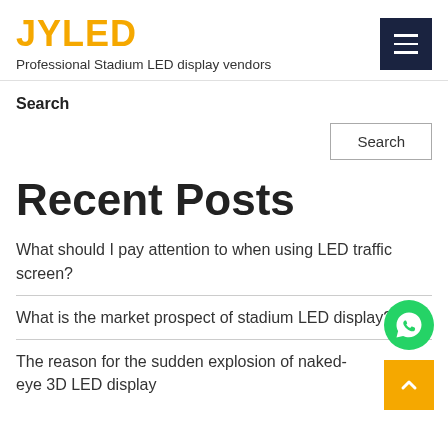JYLED
Professional Stadium LED display vendors
Search
Search
Recent Posts
What should I pay attention to when using LED traffic screen?
What is the market prospect of stadium LED display?
The reason for the sudden explosion of naked-eye 3D LED display